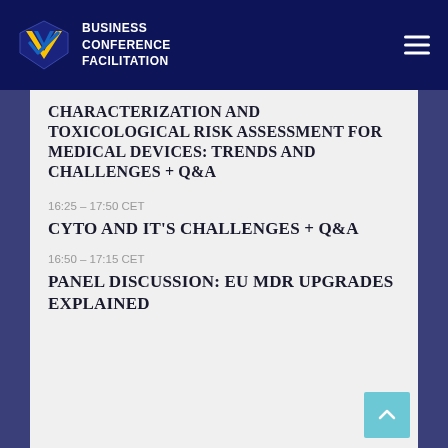BUSINESS CONFERENCE FACILITATION
CHARACTERIZATION AND TOXICOLOGICAL RISK ASSESSMENT FOR MEDICAL DEVICES: TRENDS AND CHALLENGES + Q&A
16:25 – 17:50 CET
CYTO AND IT'S CHALLENGES + Q&A
16:50 – 17:15 CET
PANEL DISCUSSION: EU MDR UPGRADES EXPLAINED